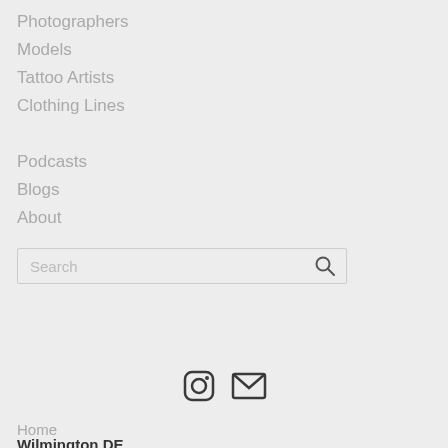Photographers
Models
Tattoo Artists
Clothing Lines
Podcasts
Blogs
About
[Figure (other): Search bar with magnifying glass icon]
[Figure (other): Instagram icon and email/envelope icon]
Home
Wilmington DE